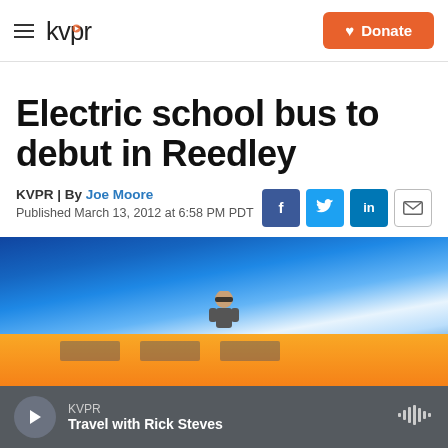kvpr | Donate
Electric school bus to debut in Reedley
KVPR | By Joe Moore
Published March 13, 2012 at 6:58 PM PDT
[Figure (photo): A person standing in front of a yellow school bus against a bright blue sky background]
KVPR | Travel with Rick Steves